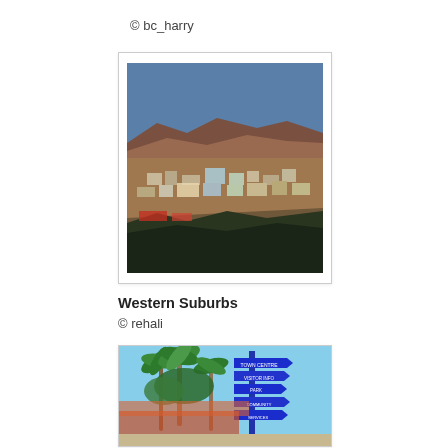© bc_harry
[Figure (photo): Aerial view of Western Suburbs town with reddish hills in background under blue sky]
Western Suburbs
© rehali
[Figure (photo): Street sign post with multiple blue directional signs, palm trees and tropical vegetation in background]